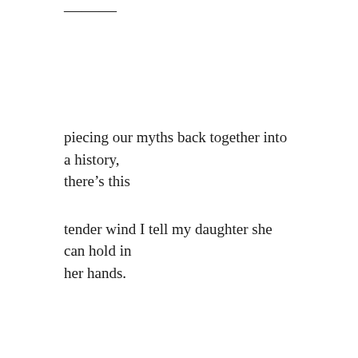piecing our myths back together into a history,
there’s this
tender wind I tell my daughter she can hold in
her hands.
John Sibley Williams is the author of nine poetry collections, including Scale Model of a Country at Dawn (Cider Press Review Poetry